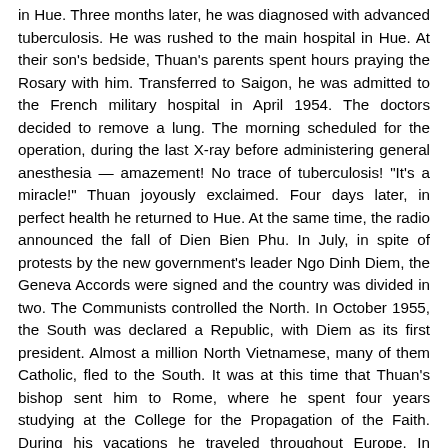in Hue. Three months later, he was diagnosed with advanced tuberculosis. He was rushed to the main hospital in Hue. At their son's bedside, Thuan's parents spent hours praying the Rosary with him. Transferred to Saigon, he was admitted to the French military hospital in April 1954. The doctors decided to remove a lung. The morning scheduled for the operation, during the last X-ray before administering general anesthesia — amazement! No trace of tuberculosis! "It's a miracle!" Thuan joyously exclaimed. Four days later, in perfect health he returned to Hue. At the same time, the radio announced the fall of Dien Bien Phu. In July, in spite of protests by the new government's leader Ngo Dinh Diem, the Geneva Accords were signed and the country was divided in two. The Communists controlled the North. In October 1955, the South was declared a Republic, with Diem as its first president. Almost a million North Vietnamese, many of them Catholic, fled to the South. It was at this time that Thuan's bishop sent him to Rome, where he spent four years studying at the College for the Propagation of the Faith. During his vacations he traveled throughout Europe. In August 1957, in front of the Grotto in Lourdes, he whispered, not entirely aware of what he was saying, "In the name of Your Son and in your name, Mary, I accept any trials or suffe[Go to top]turned to Vietnam in 1959.